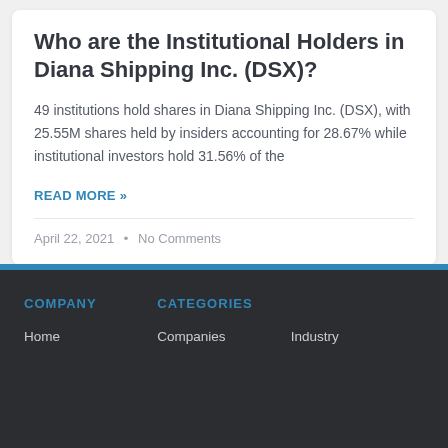Who are the Institutional Holders in Diana Shipping Inc. (DSX)?
49 institutions hold shares in Diana Shipping Inc. (DSX), with 25.55M shares held by insiders accounting for 28.67% while institutional investors hold 31.56% of the
READ MORE »
April 22, 2021  •  No Comments
COMPANY   CATEGORIES   Home   Companies   Industry